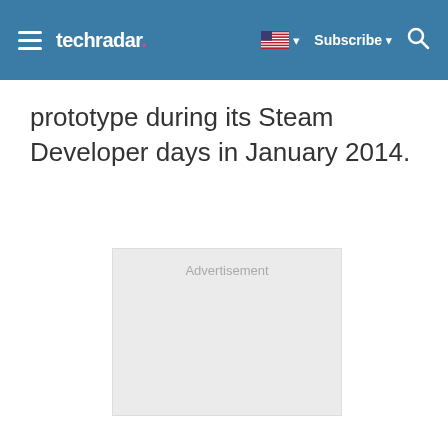techradar | Subscribe
prototype during its Steam Developer days in January 2014.
[Figure (other): Advertisement placeholder box with light grey background]